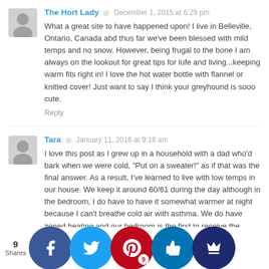The Hort Lady  ◎  December 1, 2015 at 6:29 pm
What a great site to have happened upon! I live in Belleville, Ontario, Canada abd thus far we've been blessed with mild temps and no snow. However, being frugal to the bone I am always on the lookout for great tips for lufe and living...keeping warm fits right in! I love the hot water bottle with flannel or knitted cover! Just want to say I think your greyhound is sooo cute.
Reply
Tara  ◎  January 11, 2016 at 9:18 am
I love this post as I grew up in a household with a dad who'd bark when we were cold, "Put on a sweater!" as if that was the final answer. As a result, I've learned to live with low temps in our house. We keep it around 60/61 during the day although in the bedroom, I do have to have it somewhat warmer at night because I can't breathe cold air with asthma. We do have zoned heating and our bedroom is the first to receive the ra... heat so...ally ha...und 65...t. My...and had...n accust...to this t...w and e...